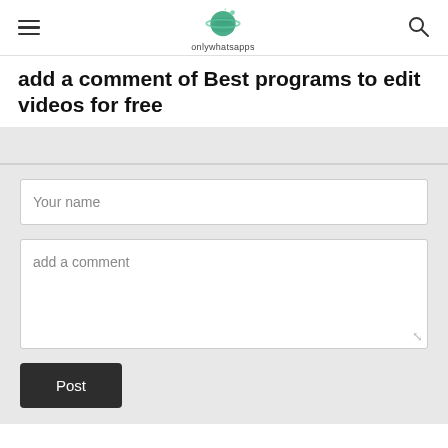onlywhatsapps
add a comment of Best programs to edit videos for free
Your name
add a comment
Post